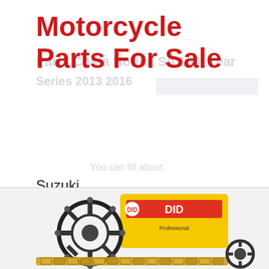Motorcycle Parts For Sale
Suzuki
Yamaha
Kawasaki
Harley Davidson
Harley
Vintage
[Figure (photo): Motorcycle chain and sprocket kit with DID Professional branding on yellow packaging, shown at bottom of page]